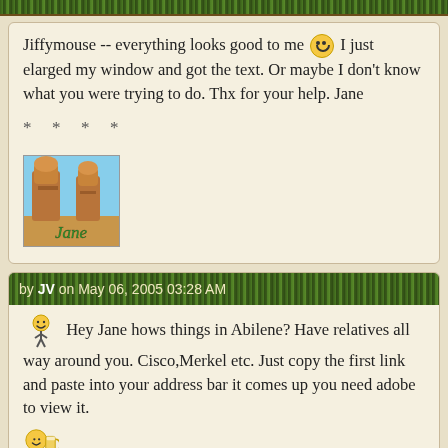[Figure (other): Green grass texture bar at top of page]
Jiffymouse -- everything looks good to me 🙂 I just elarged my window and got the text. Or maybe I don't know what you were trying to do. Thx for your help. Jane
* * * *
[Figure (photo): Jane's avatar photo showing ornate brown statues against blue sky with name 'Jane' in green italic text]
by JV on May 06, 2005 03:28 AM
Hey Jane hows things in Abilene? Have relatives all way around you. Cisco,Merkel etc. Just copy the first link and paste into your address bar it comes up you need adobe to view it.
Jimmy
* * * *
[Figure (photo): Partial avatar photo at bottom, showing plaid/checkered pattern]